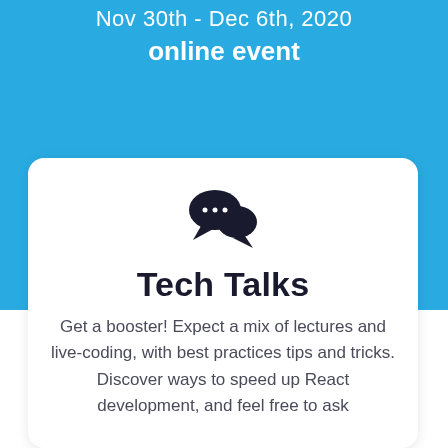Nov 30th - Dec 6th, 2020
online event
[Figure (illustration): Two overlapping speech bubble chat icons in dark navy color]
Tech Talks
Get a booster! Expect a mix of lectures and live-coding, with best practices tips and tricks. Discover ways to speed up React development, and feel free to ask